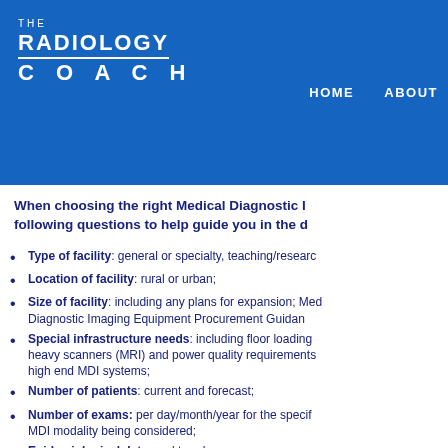THE RADIOLOGY COACH
HOME   ABOUT
When choosing the right Medical Diagnostic I... following questions to help guide you in the d...
Type of facility: general or specialty, teaching/researc...
Location of facility: rural or urban;
Size of facility: including any plans for expansion; Medical Diagnostic Imaging Equipment Procurement Guidan...
Special infrastructure needs: including floor loading for heavy scanners (MRI) and power quality requirements for high end MDI systems;
Number of patients: current and forecast;
Number of exams: per day/month/year for the specific MDI modality being considered;
Epidemiological data: and trends;
Other facilities: nearby or planned;